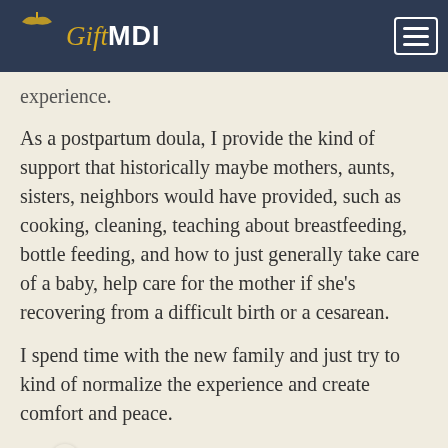GiftMDI
experience.
As a postpartum doula, I provide the kind of support that historically maybe mothers, aunts, sisters, neighbors would have provided, such as cooking, cleaning, teaching about breastfeeding, bottle feeding, and how to just generally take care of a baby, help care for the mother if she's recovering from a difficult birth or a cesarean.
I spend time with the new family and just try to kind of normalize the experience and create comfort and peace.
An [audio] think that if people have a good first few weeks and months after the baby's born, it can really kind of color the entire parenting experience